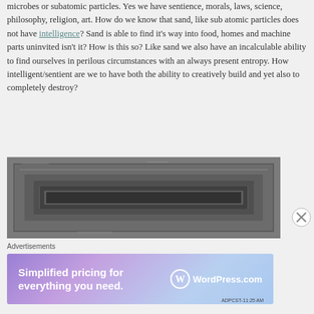microbes or subatomic particles. Yes we have sentience, morals, laws, science, philosophy, religion, art. How do we know that sand, like sub atomic particles does not have intelligence? Sand is able to find it's way into food, homes and machine parts uninvited isn't it? How is this so? Like sand we also have an incalculable ability to find ourselves in perilous circumstances with an always present entropy. How intelligent/sentient are we to have both the ability to creatively build and yet also to completely destroy?
[Figure (photo): Dark photograph showing concentric rectangular stone or concrete frames receding into a central point, creating a tunnel-like perspective effect. The image has a grayscale/dark tone.]
Advertisements
[Figure (illustration): Advertisement banner for WordPress.com with gradient purple-to-blue background. Text reads 'Simplified pricing for everything you need.' with the WordPress.com logo on the right.]